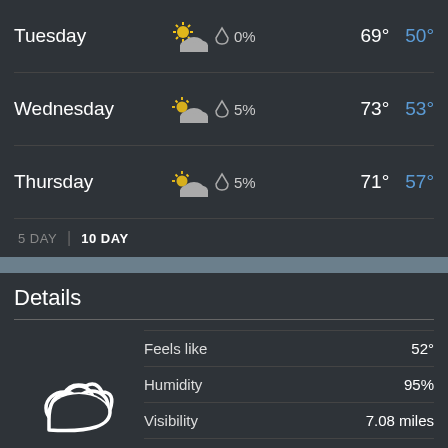| Day | Icon | Rain% | High | Low |
| --- | --- | --- | --- | --- |
| Tuesday | partly-sunny | 0% | 69° | 50° |
| Wednesday | partly-sunny | 5% | 73° | 53° |
| Thursday | partly-sunny | 5% | 71° | 57° |
5 DAY  |  10 DAY
Details
| Detail | Value |
| --- | --- |
| Feels like | 52° |
| Humidity | 95% |
| Visibility | 7.08 miles |
| UV Index | 0 (Low) |
Today - Cloudy with a high of 62 °F (16.7 °C). Winds variable at 4 to 8 mph (6.4 to 12.9 kph).
Tonight - Cloudy. Winds variable at 7 to 9 mph (11.3 to 14.5 kph). The overnight low will be 55 °F (12.8 °C).